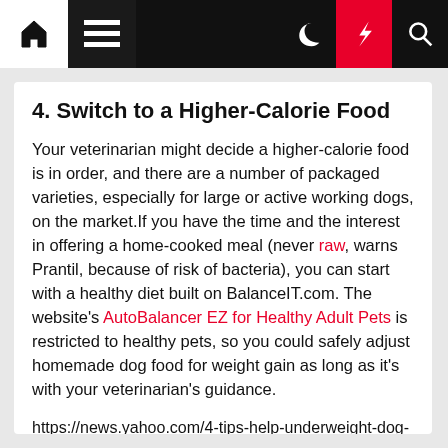Navigation bar with home, menu, moon, bolt, and search icons
4. Switch to a Higher-Calorie Food
Your veterinarian might decide a higher-calorie food is in order, and there are a number of packaged varieties, especially for large or active working dogs, on the market.If you have the time and the interest in offering a home-cooked meal (never raw, warns Prantil, because of risk of bacteria), you can start with a healthy diet built on BalanceIT.com. The website's AutoBalancer EZ for Healthy Adult Pets is restricted to healthy pets, so you could safely adjust homemade dog food for weight gain as long as it's with your veterinarian's guidance.
https://news.yahoo.com/4-tips-help-underweight-dog-171113296.html